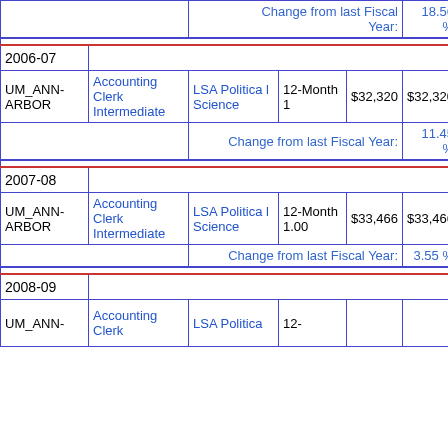| Location | Job Title | Department | Term | Salary | Salary2 |
| --- | --- | --- | --- | --- | --- |
|  |  | Change from last Fiscal Year: |  |  | 18.56 % |
| 2006-07 |  |  |  |  |  |
| UM_ANN-ARBOR | Accounting Clerk Intermediate | LSA Political Science | 12-Month 1 | $32,320 | $32,320 |
|  |  | Change from last Fiscal Year: |  |  | 11.45 % |
| 2007-08 |  |  |  |  |  |
| UM_ANN-ARBOR | Accounting Clerk Intermediate | LSA Political Science | 12-Month 1.00 | $33,466 | $33,466 |
|  |  | Change from last Fiscal Year: |  |  | 3.55 % |
| 2008-09 |  |  |  |  |  |
| UM_ANN- | Accounting Clerk | LSA Politica | 12- |  |  |